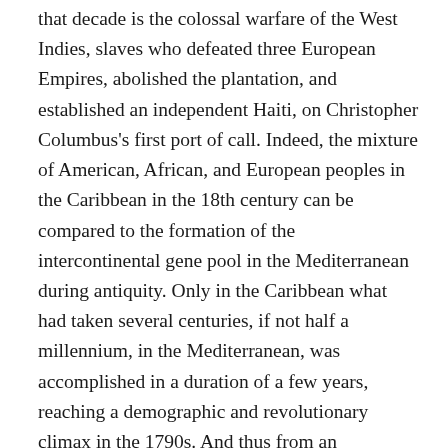that decade is the colossal warfare of the West Indies, slaves who defeated three European Empires, abolished the plantation, and established an independent Haiti, on Christopher Columbus's first port of call. Indeed, the mixture of American, African, and European peoples in the Caribbean in the 18th century can be compared to the formation of the intercontinental gene pool in the Mediterranean during antiquity. Only in the Caribbean what had taken several centuries, if not half a millennium, in the Mediterranean, was accomplished in a duration of a few years, reaching a demographic and revolutionary climax in the 1790s. And thus from an epidemiological standpoint, as well as a political one, Haiti came to occupy a position analogous to that of ancient Greece and Rome.